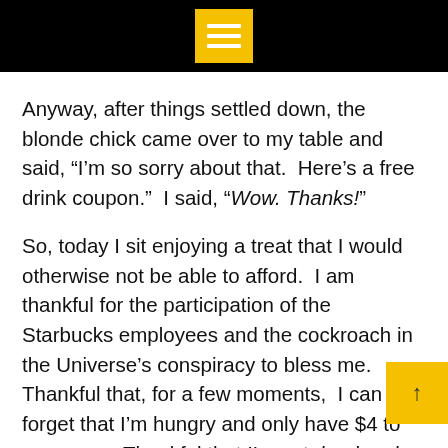Menu icon on black bar
Anyway, after things settled down, the blonde chick came over to my table and said, “I’m so sorry about that.  Here’s a free drink coupon.”  I said, “Wow. Thanks!”
So, today I sit enjoying a treat that I would otherwise not be able to afford.  I am thankful for the participation of the Starbucks employees and the cockroach in the Universe’s conspiracy to bless me.  Thankful that, for a few moments,  I can forget that I’m hungry and only have $4 to my name.  Thankful that I’m not dead and no one is looking at my body laying face up, with my legs and arms frozen in the air.  Here’s to the cockroach (raising cup).  May the unlucky little bugger rest in peace.